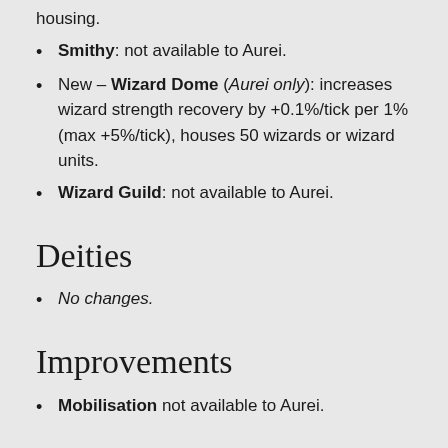housing.
Smithy: not available to Aurei.
New – Wizard Dome (Aurei only): increases wizard strength recovery by +0.1%/tick per 1% (max +5%/tick), houses 50 wizards or wizard units.
Wizard Guild: not available to Aurei.
Deities
No changes.
Improvements
Mobilisation not available to Aurei.